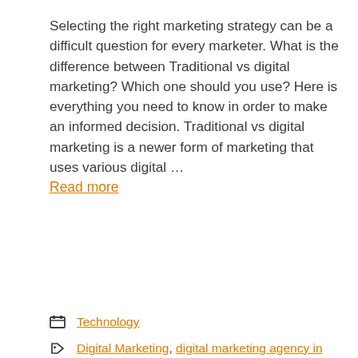Selecting the right marketing strategy can be a difficult question for every marketer. What is the difference between Traditional vs digital marketing? Which one should you use? Here is everything you need to know in order to make an informed decision. Traditional vs digital marketing is a newer form of marketing that uses various digital … Read more
Category: Technology
Tags: Digital Marketing, digital marketing agency in Lahore, digital marketing tips, internet marketing, traditional marketing